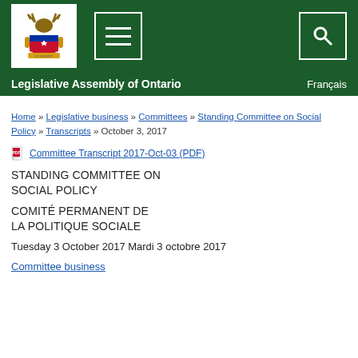[Figure (logo): Ontario Legislative Assembly crest/logo on green header background]
Legislative Assembly of Ontario   Français
Home » Legislative business » Committees » Standing Committee on Social Policy » Transcripts » October 3, 2017
Committee Transcript 2017-Oct-03 (PDF)
STANDING COMMITTEE ON SOCIAL POLICY
COMITÉ PERMANENT DE LA POLITIQUE SOCIALE
Tuesday 3 October 2017 Mardi 3 octobre 2017
Committee business